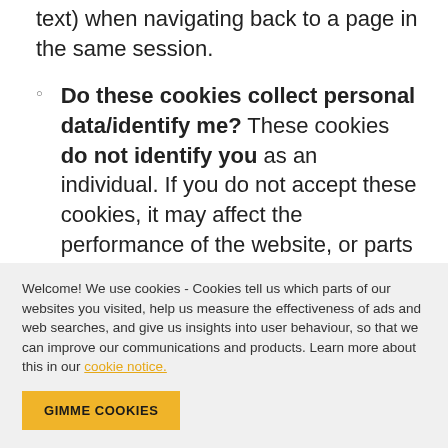text) when navigating back to a page in the same session.
Do these cookies collect personal data/identify me? These cookies do not identify you as an individual. If you do not accept these cookies, it may affect the performance of the website, or parts of it.
Performance Cookies. These cookies collect information about how you use our websites, for instance which pages you go to most often, the time
Welcome! We use cookies - Cookies tell us which parts of our websites you visited, help us measure the effectiveness of ads and web searches, and give us insights into user behaviour, so that we can improve our communications and products. Learn more about this in our cookie notice.